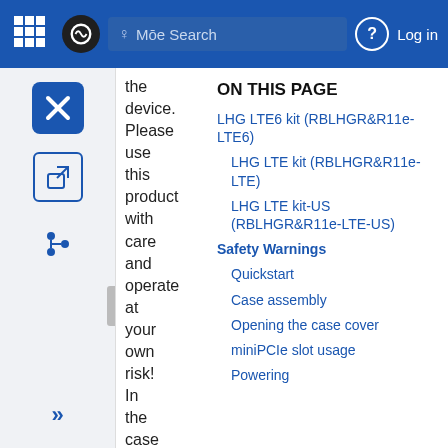MōE Search | Log in
the device. Please use this product with care and operate at your own risk! In the case of device failure, please
ON THIS PAGE
LHG LTE6 kit (RBLHGR&R11e-LTE6)
LHG LTE kit (RBLHGR&R11e-LTE)
LHG LTE kit-US (RBLHGR&R11e-LTE-US)
Safety Warnings
Quickstart
Case assembly
Opening the case cover
miniPCIe slot usage
Powering